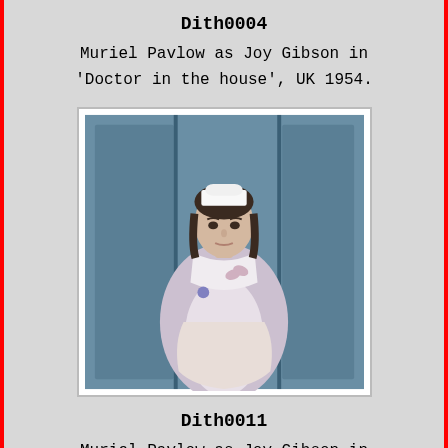Dith0004
Muriel Pavlow as Joy Gibson in 'Doctor in the house', UK 1954.
[Figure (photo): Photograph of Muriel Pavlow as Joy Gibson, a nurse in uniform with a white cap, in the film 'Doctor in the house', UK 1954.]
Dith0011
Muriel Pavlow as Joy Gibson in 'Doctor in the